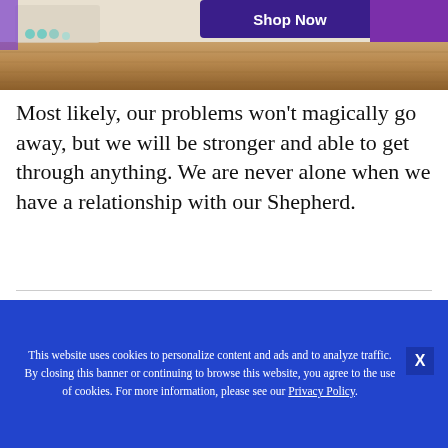[Figure (photo): Partial view of a product image with a wooden table background, teal/blue decorative elements on the left, and a purple 'Shop Now' button at the top center-right.]
Most likely, our problems won't magically go away, but we will be stronger and able to get through anything. We are never alone when we have a relationship with our Shepherd.
This website uses cookies to personalize content and ads and to analyze traffic. By closing this banner or continuing to browse this website, you agree to the use of cookies. For more information, please see our Privacy Policy.